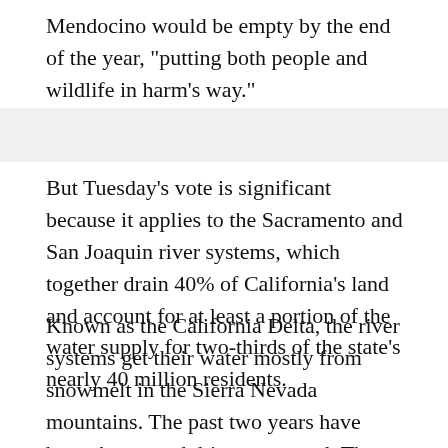Mendocino would be empty by the end of the year, "putting both people and wildlife in harm's way."
But Tuesday's vote is significant because it applies to the Sacramento and San Joaquin river systems, which together drain 40% of California's land and account for at least a portion of the water supply for two-thirds of the state's nearly 40 million residents.
Known as the California Delta, the river systems get their water mostly from snowmelt in the Sierra Nevada mountains. The past two years have been the second driest on record. The soil was so dry that it absorbed much of the snowmelt that was supposed to flow into the state's rivers. This year, California